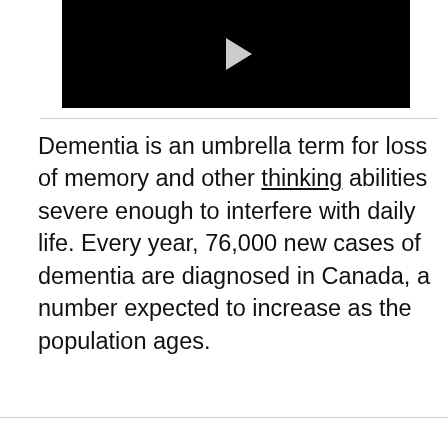[Figure (screenshot): Black video player thumbnail with a light gray play button triangle in the center]
Dementia is an umbrella term for loss of memory and other thinking abilities severe enough to interfere with daily life. Every year, 76,000 new cases of dementia are diagnosed in Canada, a number expected to increase as the population ages.